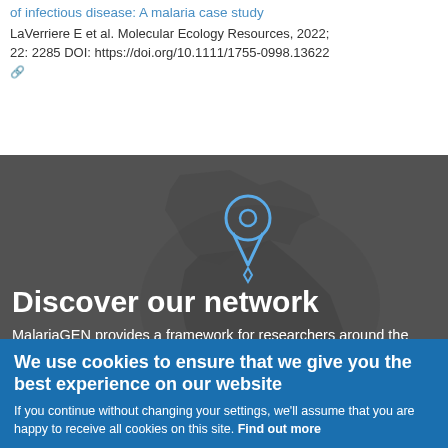of infectious disease: A malaria case study
LaVerriere E et al. Molecular Ecology Resources, 2022; 22: 2285 DOI: https://doi.org/10.1111/1755-0998.13622 [link]
[Figure (illustration): Dark map background showing parts of Europe and Africa with a blue location pin icon in the center, overlaid with text 'Discover our network' and description about MalariaGEN]
Discover our network
MalariaGEN provides a framework for researchers around the world to work together on projects that require sharing and integrating large amounts of data to
We use cookies to ensure that we give you the best experience on our website
If you continue without changing your settings, we'll assume that you are happy to receive all cookies on this site. Find out more